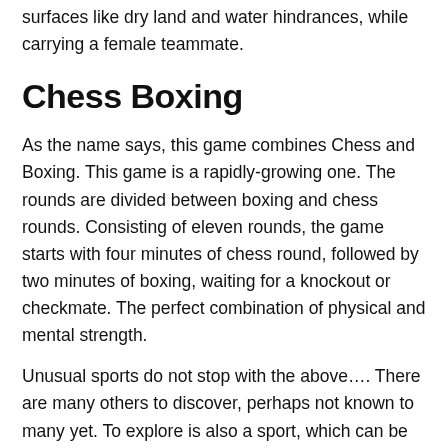surfaces like dry land and water hindrances, while carrying a female teammate.
Chess Boxing
As the name says, this game combines Chess and Boxing. This game is a rapidly-growing one. The rounds are divided between boxing and chess rounds. Consisting of eleven rounds, the game starts with four minutes of chess round, followed by two minutes of boxing, waiting for a knockout or checkmate. The perfect combination of physical and mental strength.
Unusual sports do not stop with the above…. There are many others to discover, perhaps not known to many yet. To explore is also a sport, which can be practiced at Spin and Win Casino. This site brings